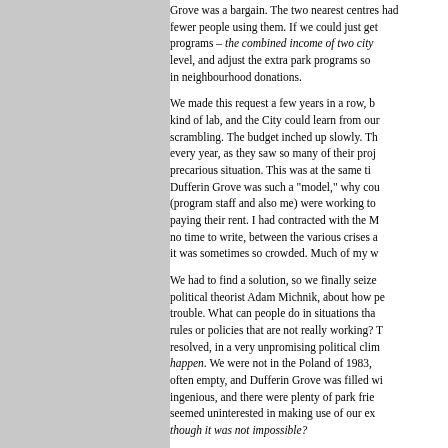Grove was a bargain. The two nearest centres had fewer people using them. If we could just get programs – the combined income of two city level, and adjust the extra park programs so in neighbourhood donations.

We made this request a few years in a row, b kind of lab, and the City could learn from our scrambling. The budget inched up slowly. Th every year, as they saw so many of their proj precarious situation. This was at the same ti Dufferin Grove was such a "model," why cou (program staff and also me) were working to paying their rent. I had contracted with the M no time to write, between the various crises a it was sometimes so crowded. Much of my w

We had to find a solution, so we finally seize political theorist Adam Michnik, about how pe trouble. What can people do in situations tha rules or policies that are not really working? T resolved, in a very unpromising political clim happen. We were not in the Poland of 1983, often empty, and Dufferin Grove was filled wi ingenious, and there were plenty of park frie seemed uninterested in making use of our ex though it was not impossible?

I went to see the recreation supervisor, Tino i reached almost $80,000. The money came f